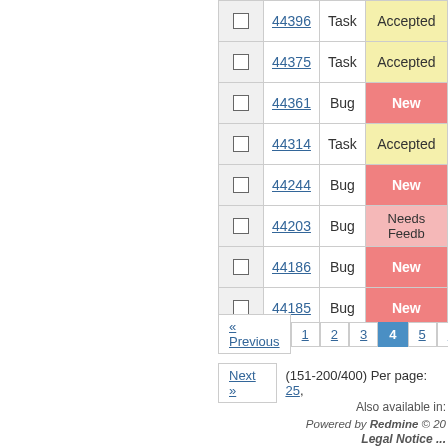|  | # | Type | Status |
| --- | --- | --- | --- |
|  | 44396 | Task | Accepted |
|  | 44375 | Task | Accepted |
|  | 44361 | Bug | New |
|  | 44314 | Task | Accepted |
|  | 44244 | Bug | New |
|  | 44203 | Bug | Needs Feedb... |
|  | 44186 | Bug | New |
|  | 44185 | Bug | New |
« Previous  1  2  3  4  5  6
Next »  (151-200/400) Per page: 25,
Also available in:
Powered by Redmine © 20... Legal Notice ...